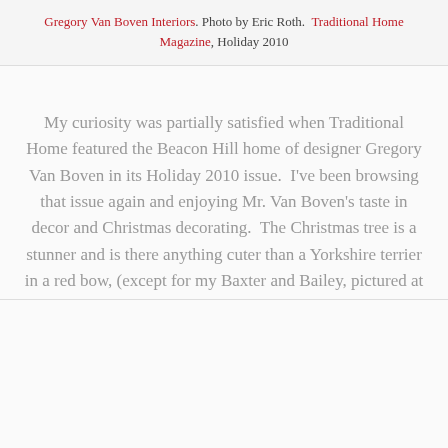Gregory Van Boven Interiors. Photo by Eric Roth.  Traditional Home Magazine, Holiday 2010
My curiosity was partially satisfied when Traditional Home featured the Beacon Hill home of designer Gregory Van Boven in its Holiday 2010 issue.  I've been browsing that issue again and enjoying Mr. Van Boven's taste in decor and Christmas decorating.  The Christmas tree is a stunner and is there anything cuter than a Yorkshire terrier in a red bow, (except for my Baxter and Bailey, pictured at right)?